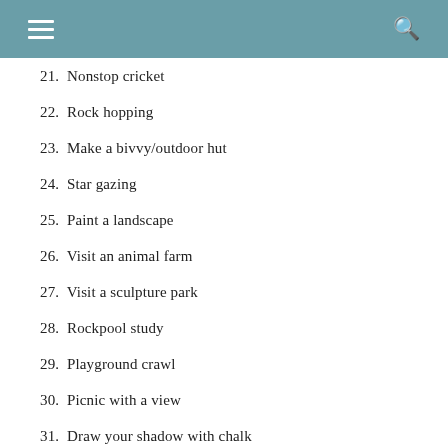21.  Nonstop cricket
22.  Rock hopping
23.  Make a bivvy/outdoor hut
24.  Star gazing
25.  Paint a landscape
26.  Visit an animal farm
27.  Visit a sculpture park
28.  Rockpool study
29.  Playground crawl
30.  Picnic with a view
31.  Draw your shadow with chalk